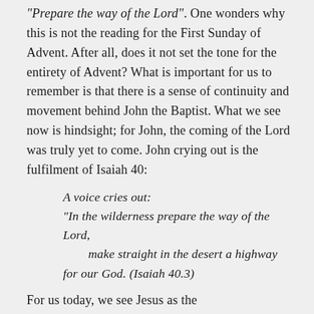“Prepare the way of the Lord”. One wonders why this is not the reading for the First Sunday of Advent. After all, does it not set the tone for the entirety of Advent? What is important for us to remember is that there is a sense of continuity and movement behind John the Baptist. What we see now is hindsight; for John, the coming of the Lord was truly yet to come. John crying out is the fulfilment of Isaiah 40:
A voice cries out:
“In the wilderness prepare the way of the Lord,
    make straight in the desert a highway for our God. (Isaiah 40.3)
For us today, we see Jesus as the